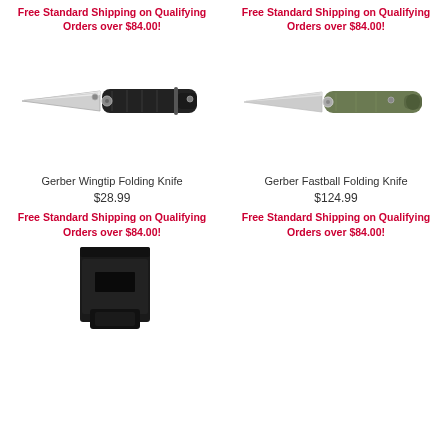Free Standard Shipping on Qualifying Orders over $84.00!
[Figure (photo): Gerber Wingtip Folding Knife - black handle folding knife open]
Free Standard Shipping on Qualifying Orders over $84.00!
[Figure (photo): Gerber Fastball Folding Knife - olive/green handle folding knife open]
Gerber Wingtip Folding Knife
$28.99
Free Standard Shipping on Qualifying Orders over $84.00!
Gerber Fastball Folding Knife
$124.99
Free Standard Shipping on Qualifying Orders over $84.00!
[Figure (photo): Black folding knife case/sheath - partial view at bottom of page]